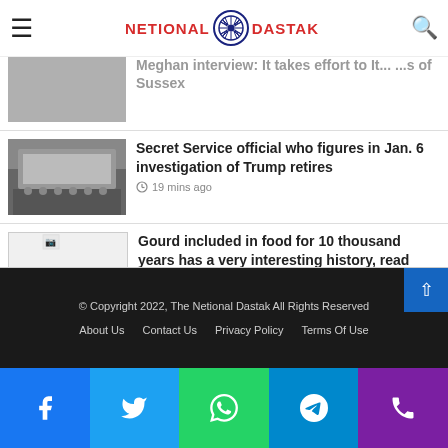NETIONAL DASTAK
Meghan interview: it takes effort to It... ...s of Sussex
[Figure (photo): Group of people in a hall/committee room]
Secret Service official who figures in Jan. 6 investigation of Trump retires
19 mins ago
[Figure (photo): Loading spinner image placeholder]
Gourd included in food for 10 thousand years has a very interesting history, read some important things related to it
21 mins ago
© Copyright 2022, The Netional Dastak All Rights Reserved
About Us  Contact Us  Privacy Policy  Terms Of Use